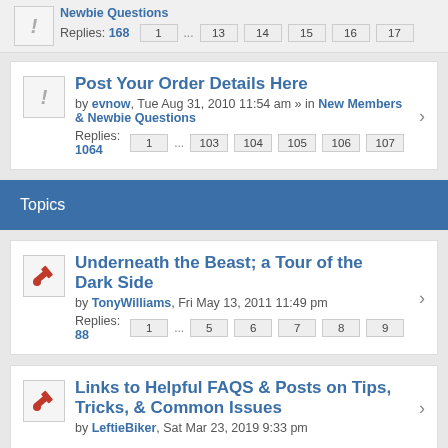Newbie Questions — Replies: 168 — Pages: 1 ... 13 14 15 16 17
Post Your Order Details Here — by evnow, Tue Aug 31, 2010 11:54 am » in New Members & Newbie Questions — Replies: 1064 — Pages: 1 ... 103 104 105 106 107
Topics
Underneath the Beast; a Tour of the Dark Side — by TonyWilliams, Fri May 13, 2011 11:49 pm — Replies: 88 — Pages: 1 ... 5 6 7 8 9
Links to Helpful FAQS & Posts on Tips, Tricks, & Common Issues — by LeftieBiker, Sat Mar 23, 2019 9:33 pm